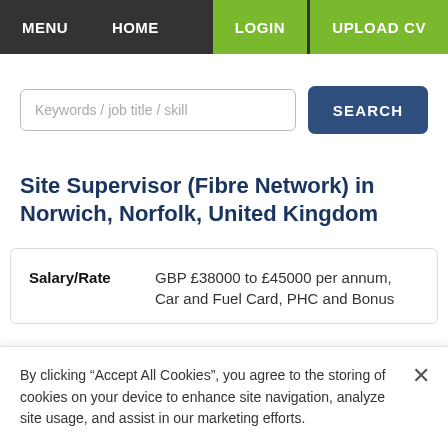MENU  HOME  LOGIN  UPLOAD CV
Keywords / job title / skill
Site Supervisor (Fibre Network) in Norwich, Norfolk, United Kingdom
| Field | Value |
| --- | --- |
| Salary/Rate | GBP £38000 to £45000 per annum, Car and Fuel Card, PHC and Bonus |
By clicking “Accept All Cookies”, you agree to the storing of cookies on your device to enhance site navigation, analyze site usage, and assist in our marketing efforts.